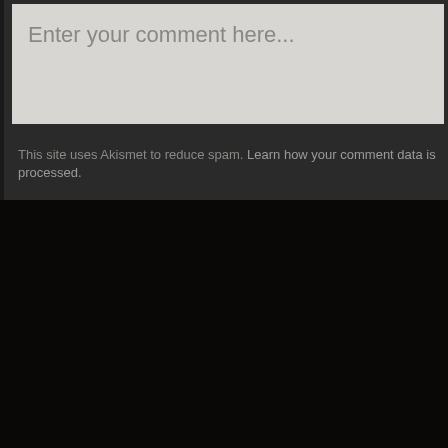Enter your comment here...
This site uses Akismet to reduce spam. Learn how your comment data is processed.